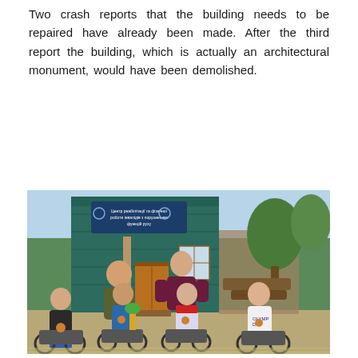Two crash reports that the building needs to be repaired have already been made. After the third report the building, which is actually an architectural monument, would have been demolished.
[Figure (photo): Group photo of several men, four of whom are in wheelchairs and wearing medals, posing in front of a green wooden building. One man stands in the back center. The building has a sign with Ukrainian text. Trees and outdoor scenery are visible in the background.]